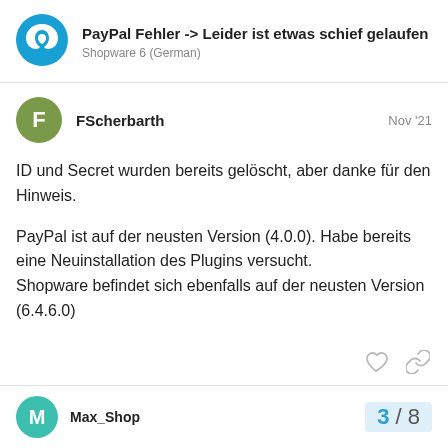PayPal Fehler -> Leider ist etwas schief gelaufen
Shopware 6 (German)
FScherbarth
Nov '21
ID und Secret wurden bereits gelöscht, aber danke für den Hinweis.

PayPal ist auf der neusten Version (4.0.0). Habe bereits eine Neuinstallation des Plugins versucht.
Shopware befindet sich ebenfalls auf der neusten Version (6.4.6.0)
Max_Shop
3 / 8